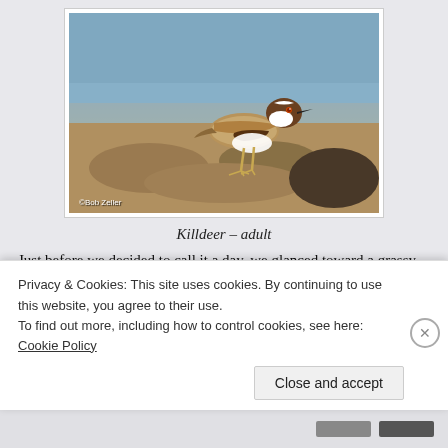[Figure (photo): A Killdeer bird (adult) standing on rocky shoreline with water in background. Photo credit: ©Bob Zeller]
Killdeer – adult
Just before we decided to call it a day, we glanced toward a grassy picnic area, and there was a hawk in the shadows, walking in the grass.  He was about seventy-five feet away.  I got the camera and 500mm lens up on the Needle and ainder-will again and snapped a few images before it flew off
Privacy & Cookies: This site uses cookies. By continuing to use this website, you agree to their use.
To find out more, including how to control cookies, see here: Cookie Policy
Close and accept